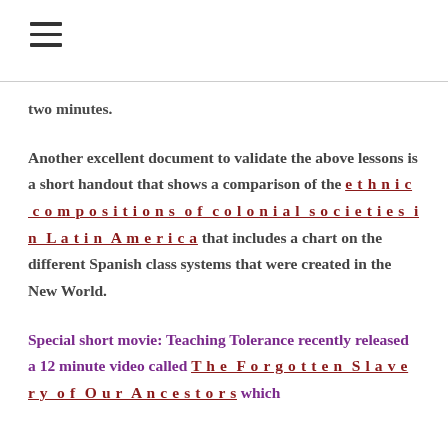≡
two minutes.
Another excellent document to validate the above lessons is a short handout that shows a comparison of the ethnic compositions of colonial societies in Latin America that includes a chart on the different Spanish class systems that were created in the New World.
Special short movie: Teaching Tolerance recently released a 12 minute video called The Forgotten Slavery of Our Ancestors which